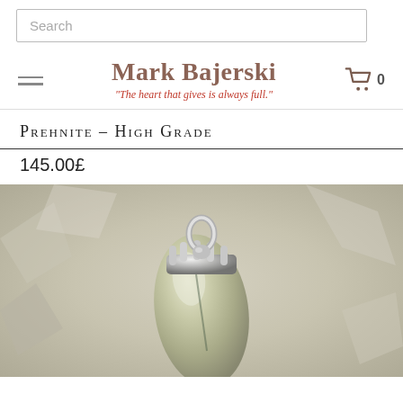Search
Mark Bajerski
"The heart that gives is always full."
Prehnite – High Grade
145.00£
[Figure (photo): Close-up photo of a prehnite gemstone pendant with a silver claw setting and bail, set against a white crystalline mineral background.]